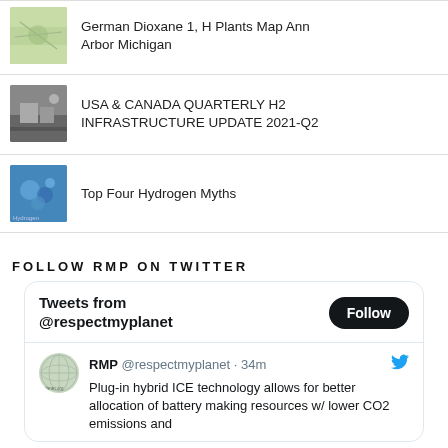German Dioxane 1, H Plants Map Ann Arbor Michigan
USA & CANADA QUARTERLY H2 INFRASTRUCTURE UPDATE 2021-Q2
Top Four Hydrogen Myths
FOLLOW RMP ON TWITTER
Tweets from @respectmyplanet
RMP @respectmyplanet · 34m
Plug-in hybrid ICE technology allows for better allocation of battery making resources w/ lower CO2 emissions and